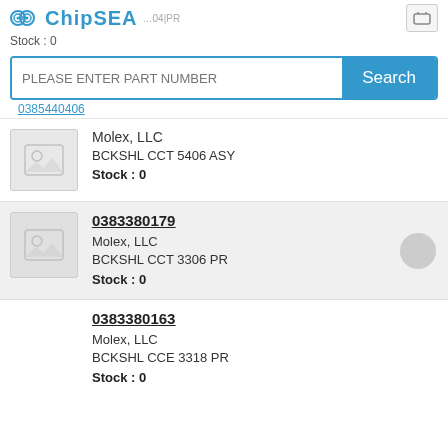ChipSEA — Stock : 0
[Figure (screenshot): Search bar with placeholder text PLEASE ENTER PART NUMBER and Search button, with link 0385440406 below]
Molex, LLC
BCKSHL CCT 5406 ASY
Stock : 0
0383380179
Molex, LLC
BCKSHL CCT 3306 PR
Stock : 0
0383380163
Molex, LLC
BCKSHL CCE 3318 PR
Stock : 0